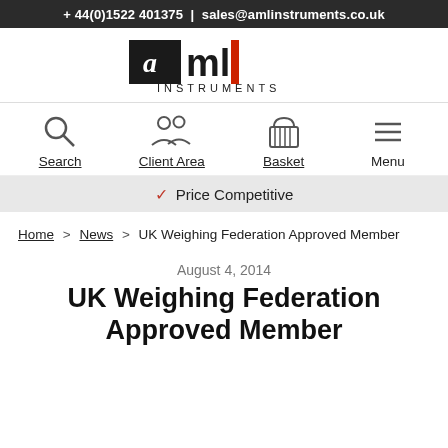+ 44(0)1522 401375 | sales@amlinstruments.co.uk
[Figure (logo): AML Instruments logo with black square, stylized 'aml' text in black and red, and 'INSTRUMENTS' text below]
[Figure (infographic): Navigation icons: Search (magnifying glass), Client Area (two figures), Basket (basket icon), Menu (hamburger lines)]
✓ Price Competitive
Home > News > UK Weighing Federation Approved Member
August 4, 2014
UK Weighing Federation Approved Member